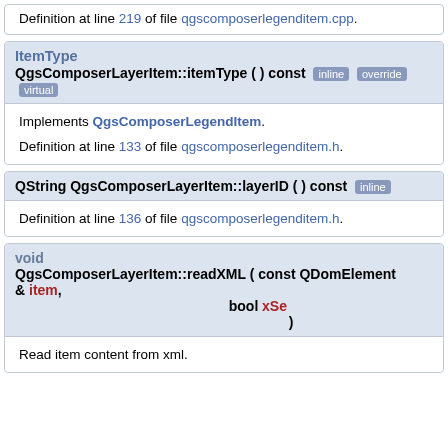Definition at line 219 of file qgscomposerlegenditem.cpp.
ItemType
QgsComposerLayerItem::itemType ( ) const [inline] [override] [virtual]
Implements QgsComposerLegendItem.
Definition at line 133 of file qgscomposerlegenditem.h.
QString QgsComposerLayerItem::layerID ( ) const [inline]
Definition at line 136 of file qgscomposerlegenditem.h.
void
QgsComposerLayerItem::readXML ( const QDomElement & item, bool xSe, )
Read item content from xml.